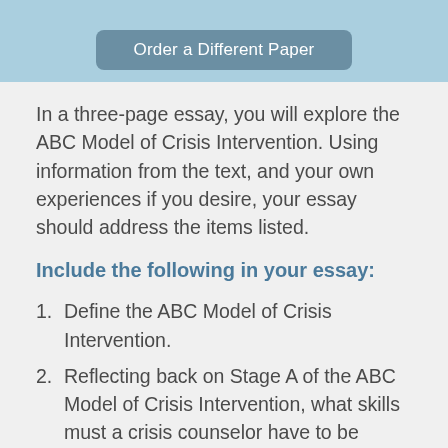[Figure (screenshot): Light blue banner with a rounded button labeled 'Order a Different Paper' in steel blue/gray color]
In a three-page essay, you will explore the ABC Model of Crisis Intervention. Using information from the text, and your own experiences if you desire, your essay should address the items listed.
Include the following in your essay:
Define the ABC Model of Crisis Intervention.
Reflecting back on Stage A of the ABC Model of Crisis Intervention, what skills must a crisis counselor have to be